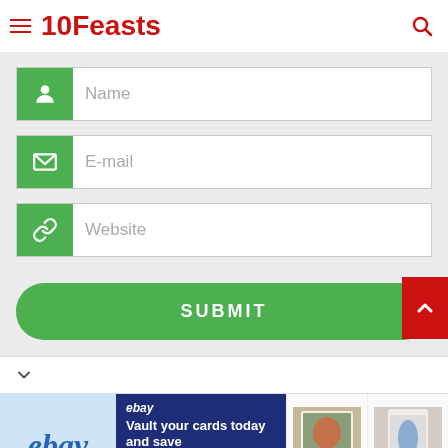10Feasts
[Figure (screenshot): Web form with three input fields (Name, E-mail, Website) each with a green icon, a green SUBMIT button, and an eBay advertisement banner at the bottom showing trading cards priced at $101,050 and $49,999.99]